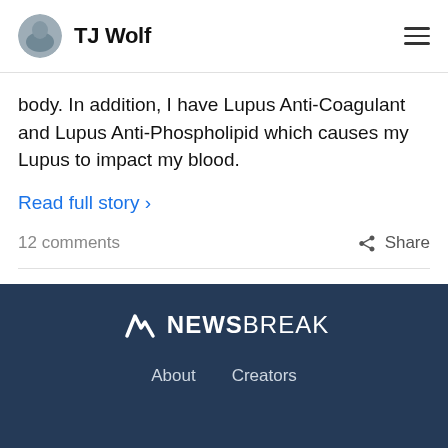TJ Wolf
body. In addition, I have Lupus Anti-Coagulant and Lupus Anti-Phospholipid which causes my Lupus to impact my blood.
Read full story ›
12 comments
Share
[Figure (logo): NewsBreak logo with stylized N icon in white on dark navy background]
About   Creators